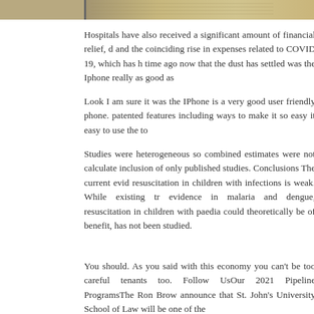[Figure (photo): Partial photo strip at top showing money/coins and a watch or similar objects]
Hospitals have also received a significant amount of financial relief, d and the coinciding rise in expenses related to COVID 19, which has h time ago now that the dust has settled was the Iphone really as good as
Look I am sure it was the IPhone is a very good user friendly phone. patented features including ways to make it so easy it easy to use the to
Studies were heterogeneous so combined estimates were not calculate inclusion of only published studies. Conclusions The current evid resuscitation in children with infections is weak. While existing tr evidence in malaria and dengue, resuscitation in children with paedia could theoretically be of benefit, has not been studied.
You should. As you said with this economy you can't be too careful tenants too. Follow UsOur 2021 Pipeline ProgramsThe Ron Brow announce that St. John's University School of Law will be one of the